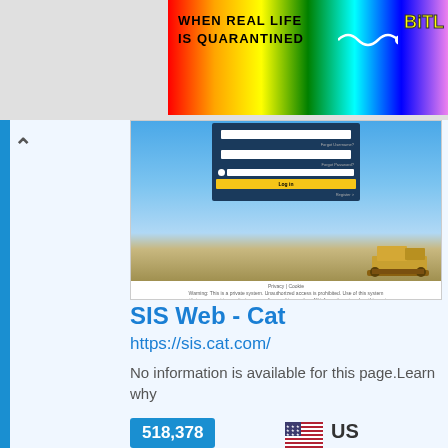[Figure (screenshot): Top advertisement banner with rainbow gradient background, text 'WHEN REAL LIFE IS QUARANTINED' and 'BiTL' logo]
[Figure (screenshot): Screenshot of sis.cat.com website showing login form overlay on a landscape photo with blue sky and a bulldozer/dozer in the field]
SIS Web - Cat
https://sis.cat.com/
No information is available for this page.Learn why
518,378
Pageviews
US
Top Country